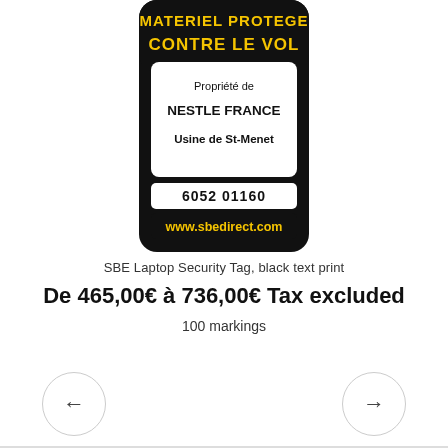[Figure (photo): SBE Laptop Security Tag product image showing a black rounded rectangle tag with yellow bold text 'MATERIEL PROTEGE CONTRE LE VOL' at top, a white box with 'Propriété de NESTLE FRANCE Usine de St-Menet', a white strip with '6052 01160', and a black strip with yellow text 'www.sbedirect.com']
SBE Laptop Security Tag, black text print
De 465,00€ à 736,00€ Tax excluded
100 markings